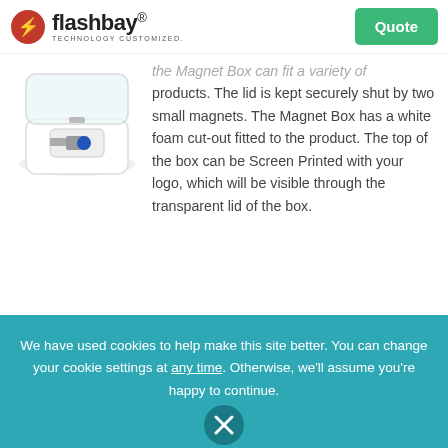flashbay® TECHNOLOGY CUSTOMIZED. | Quote
[Figure (photo): White Magnet Box containing a USB flash drive, shown open with transparent lid]
the Magnet Box can fit a variety of products. The lid is kept securely shut by two small magnets. The Magnet Box has a white foam cut-out fitted to the product. The top of the box can be Screen Printed with your logo, which will be visible through the transparent lid of the box.
View Image Gallery ▶
View Dimensional Diagram ▶
Branding Area ▶
We have used cookies to help make this site better. You can change your cookie settings at any time. Otherwise, we'll assume you're happy to continue.